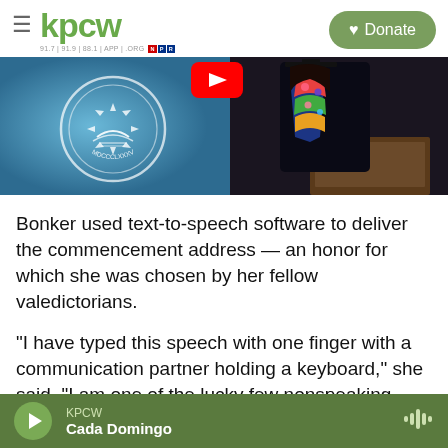kpcw — 91.7 | 91.9 | 88.1 | APP | .ORG — NPR — Donate
[Figure (photo): Split image: left side shows a blue background with the Hollins College seal/logo (circular emblem with text HOLLINS COLLEGE and MDCCCLXXXV), right side shows a person wearing graduation cap and colorful floral sash/stole at a podium. A red YouTube play button appears at the top center.]
Bonker used text-to-speech software to deliver the commencement address — an honor for which she was chosen by her fellow valedictorians.
"I have typed this speech with one finger with a communication partner holding a keyboard," she said. "I am one of the lucky few nonspeaking autistics who have been taught to type. That one
KPCW — Cada Domingo